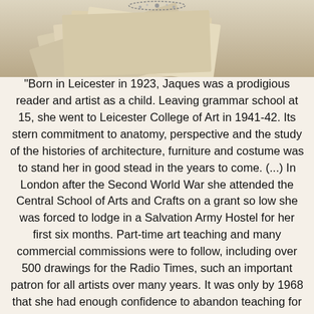[Figure (photo): Vintage sepia-toned photograph showing old stacked papers or documents, partially visible at top of page with a decorative element at the top center]
"Born in Leicester in 1923, Jaques was a prodigious reader and artist as a child. Leaving grammar school at 15, she went to Leicester College of Art in 1941-42. Its stern commitment to anatomy, perspective and the study of the histories of architecture, furniture and costume was to stand her in good stead in the years to come. (...) In London after the Second World War she attended the Central School of Arts and Crafts on a grant so low she was forced to lodge in a Salvation Army Hostel for her first six months. Part-time art teaching and many commercial commissions were to follow, including over 500 drawings for the Radio Times, such an important patron for all artists over many years. It was only by 1968 that she had enough confidence to abandon teaching for full-time book illustration.(...) Her brilliance soon found many outlets, including Roald Dahl's Charlie and the Chocolate Factory (1967) (...) She also provided meticulous art-work for Hugh Evelyn's multi-volume History of Costume (1966-70). The hard work this entailed was meat and drink to an artist who, in her own words, always believed that "information and imagination should go hand in hand"